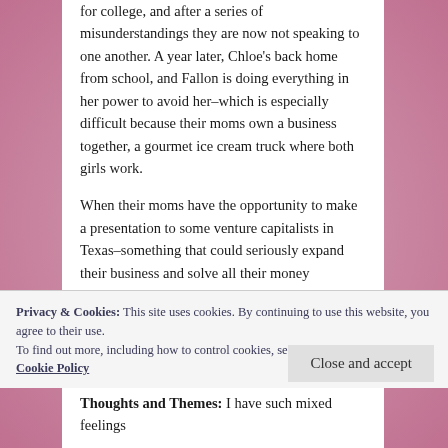for college, and after a series of misunderstandings they are now not speaking to one another. A year later, Chloe's back home from school, and Fallon is doing everything in her power to avoid her–which is especially difficult because their moms own a business together, a gourmet ice cream truck where both girls work.

When their moms have the opportunity to make a presentation to some venture capitalists in Texas–something that could seriously expand their business and solve all their money problems to boot–it's up to Fallon to work a series of food truck festivals across the country. But she can't do it alone, and Chloe is the only one available to
Privacy & Cookies: This site uses cookies. By continuing to use this website, you agree to their use.
To find out more, including how to control cookies, see here: Cookie Policy
Thoughts and Themes: I have such mixed feelings